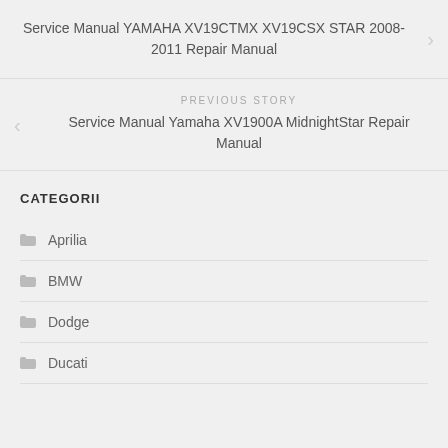Service Manual YAMAHA XV19CTMX XV19CSX STAR 2008-2011 Repair Manual
PREVIOUS STORY
Service Manual Yamaha XV1900A MidnightStar Repair Manual
CATEGORII
Aprilia
BMW
Dodge
Ducati